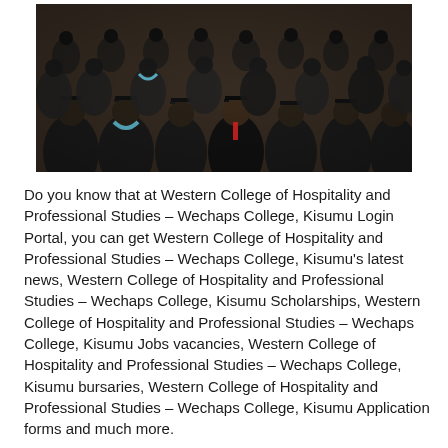[Figure (photo): Graduation ceremony photo showing students in black academic gowns and mortarboard caps seated in rows]
Do you know that at Western College of Hospitality and Professional Studies – Wechaps College, Kisumu Login Portal, you can get Western College of Hospitality and Professional Studies – Wechaps College, Kisumu's latest news, Western College of Hospitality and Professional Studies – Wechaps College, Kisumu Scholarships, Western College of Hospitality and Professional Studies – Wechaps College, Kisumu Jobs vacancies, Western College of Hospitality and Professional Studies – Wechaps College, Kisumu bursaries, Western College of Hospitality and Professional Studies – Wechaps College, Kisumu Application forms and much more.